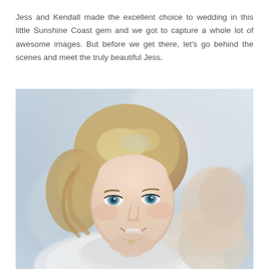Jess and Kendall made the excellent choice to wedding in this little Sunshine Coast gem and we got to capture a whole lot of awesome images. But before we get there, let's go behind the scenes and meet the truly beautiful Jess.
[Figure (photo): Close-up portrait of a smiling blonde bride with an updo hairstyle and blue-green eyes, wearing a white lace wedding dress and a delicate necklace, photographed against a soft blurred light background.]